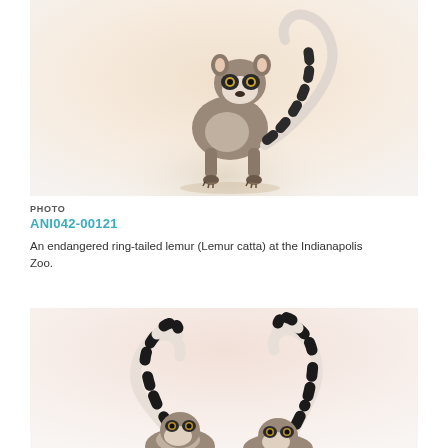[Figure (photo): A ring-tailed lemur standing and looking at the camera against a light beige/white studio background, with its distinctive black-and-white striped tail curled up over its back.]
PHOTO
ANI042-00121
An endangered ring-tailed lemur (Lemur catta) at the Indianapolis Zoo.
[Figure (photo): Two ring-tailed lemurs partially visible at the bottom of the frame, their distinctive black-and-white striped tails raised upward against a soft pinkish-white studio background.]